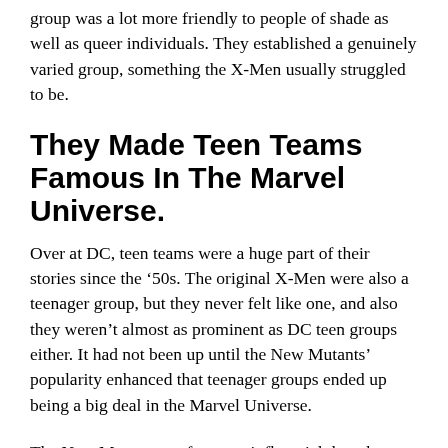group was a lot more friendly to people of shade as well as queer individuals. They established a genuinely varied group, something the X-Men usually struggled to be.
They Made Teen Teams Famous In The Marvel Universe.
Over at DC, teen teams were a huge part of their stories since the ’50s. The original X-Men were also a teenager group, but they never felt like one, and also they weren’t almost as prominent as DC teen groups either. It had not been up until the New Mutants’ popularity enhanced that teenager groups ended up being a big deal in the Marvel Universe.
The New Mutants are far more influential than they obtain credit history for. Teams like the New Warriors, the latter day Champions, the Young Avengers,